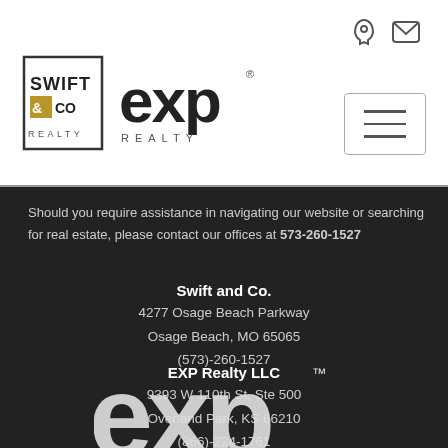[Figure (logo): Swift and Co. Realty logo with EXP Realty logo in the top navigation bar]
Should you require assistance in navigating our website or searching for real estate, please contact our offices at 573-260-1527
Swift and Co.
4277 Osage Beach Parkway
Osage Beach, MO 65065
(573)-260-1527
EXP Realty LLC
9393 W 110th St, Ste 500
Overland Park, KS 66210
(866)-224-1761
[Figure (logo): Large EXP logo in white on dark background at the bottom of the page]